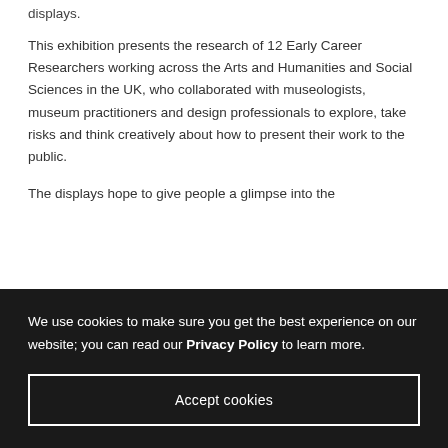displays.
This exhibition presents the research of 12 Early Career Researchers working across the Arts and Humanities and Social Sciences in the UK, who collaborated with museologists, museum practitioners and design professionals to explore, take risks and think creatively about how to present their work to the public.
The displays hope to give people a glimpse into the
We use cookies to make sure you get the best experience on our website; you can read our Privacy Policy to learn more.
Accept cookies